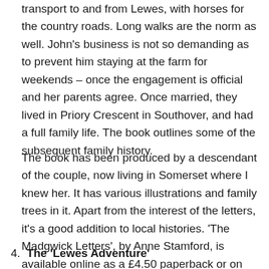transport to and from Lewes, with horses for the country roads. Long walks are the norm as well. John's business is not so demanding as to prevent him staying at the farm for weekends – once the engagement is official and her parents agree. Once married, they lived in Priory Crescent in Southover, and had a full family life. The book outlines some of the subsequent family history.
The book has been produced by a descendant of the couple, now living in Somerset where I knew her. It has various illustrations and family trees in it. Apart from the interest of the letters, it's a good addition to local histories. 'The Madgwick Letters', by Anne Stamford, is available online as a £4.50 paperback or on Kindle.
4.  The 'Lewes Adventure'